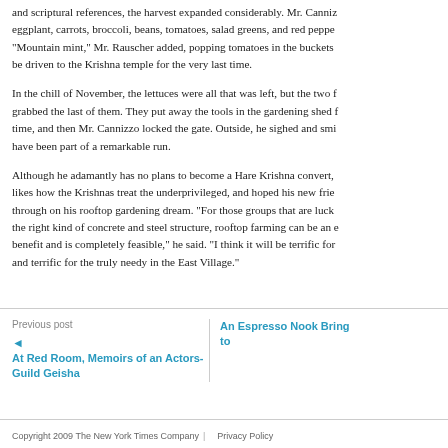and scriptural references, the harvest expanded considerably. Mr. Canniz... eggplant, carrots, broccoli, beans, tomatoes, salad greens, and red peppe... "Mountain mint," Mr. Rauscher added, popping tomatoes in the buckets... be driven to the Krishna temple for the very last time.
In the chill of November, the lettuces were all that was left, but the two f... grabbed the last of them. They put away the tools in the gardening shed f... time, and then Mr. Cannizzo locked the gate. Outside, he sighed and smi... have been part of a remarkable run.
Although he adamantly has no plans to become a Hare Krishna convert,... likes how the Krishnas treat the underprivileged, and hoped his new frien... through on his rooftop gardening dream. "For those groups that are luck... the right kind of concrete and steel structure, rooftop farming can be an e... benefit and is completely feasible," he said. "I think it will be terrific for... and terrific for the truly needy in the East Village."
Previous post
At Red Room, Memoirs of an Actors-Guild Geisha
An Espresso Nook Bring... to
Copyright 2009 The New York Times Company | Privacy Policy